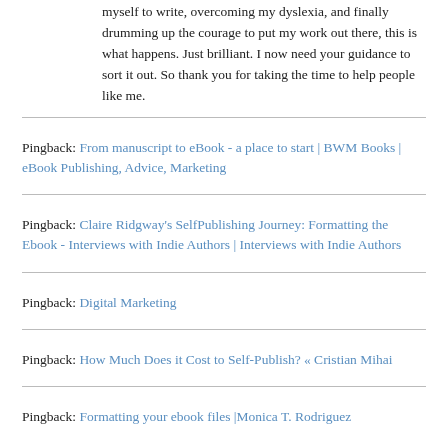myself to write, overcoming my dyslexia, and finally drumming up the courage to put my work out there, this is what happens. Just brilliant. I now need your guidance to sort it out. So thank you for taking the time to help people like me.
Pingback: From manuscript to eBook - a place to start | BWM Books | eBook Publishing, Advice, Marketing
Pingback: Claire Ridgway's SelfPublishing Journey: Formatting the Ebook - Interviews with Indie Authors | Interviews with Indie Authors
Pingback: Digital Marketing
Pingback: How Much Does it Cost to Self-Publish? « Cristian Mihai
Pingback: Formatting your ebook files |Monica T. Rodriguez